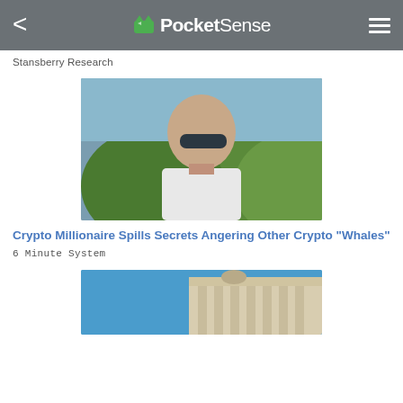PocketSense
Stansberry Research
[Figure (photo): A bald man wearing dark sunglasses and a white shirt, outdoors with trees and mountains in the background]
Crypto Millionaire Spills Secrets Angering Other Crypto "Whales"
6 Minute System
[Figure (photo): Partial view of a classical building with columns against a blue sky]